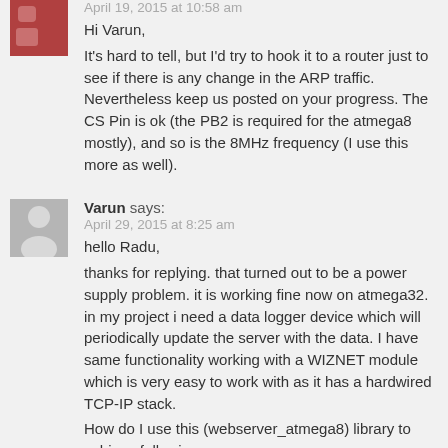April 19, 2015 at 10:58 am
Hi Varun,
It's hard to tell, but I'd try to hook it to a router just to see if there is any change in the ARP traffic. Nevertheless keep us posted on your progress. The CS Pin is ok (the PB2 is required for the atmega8 mostly), and so is the 8MHz frequency (I use this more as well).
Varun says:
April 29, 2015 at 8:25 am
hello Radu,
thanks for replying. that turned out to be a power supply problem. it is working fine now on atmega32. in my project i need a data logger device which will periodically update the server with the data. I have same functionality working with a WIZNET module which is very easy to work with as it has a hardwired TCP-IP stack.
How do I use this (webserver_atmega8) library to achieve following:
1. open a TCP connection
2. send an HTTP packet containing data to the server